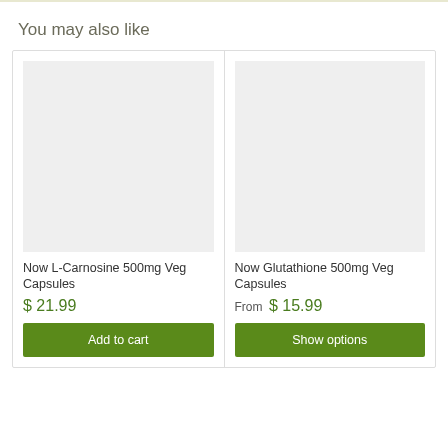You may also like
[Figure (photo): Product image placeholder for Now L-Carnosine 500mg Veg Capsules (light gray rectangle)]
Now L-Carnosine 500mg Veg Capsules
$ 21.99
Add to cart
[Figure (photo): Product image placeholder for Now Glutathione 500mg Veg Capsules (light gray rectangle)]
Now Glutathione 500mg Veg Capsules
From $ 15.99
Show options